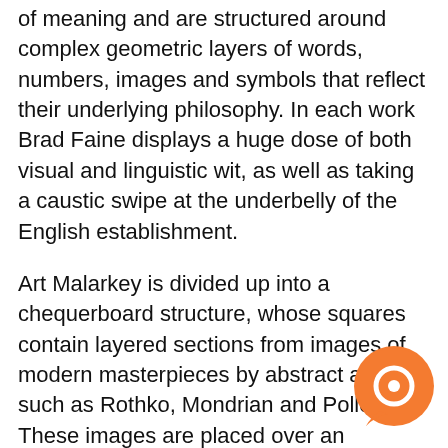of meaning and are structured around complex geometric layers of words, numbers, images and symbols that reflect their underlying philosophy. In each work Brad Faine displays a huge dose of both visual and linguistic wit, as well as taking a caustic swipe at the underbelly of the English establishment.
Art Malarkey is divided up into a chequerboard structure, whose squares contain layered sections from images of modern masterpieces by abstract artists such as Rothko, Mondrian and Pollock. These images are placed over an underlying alphabet sequence that forms the basis for the composition. The top tier of meaning is delivered by another sequence of letters covering the whole pictorial space, spelling the names of famous artists. Faine creates a visual conundrum between the art images